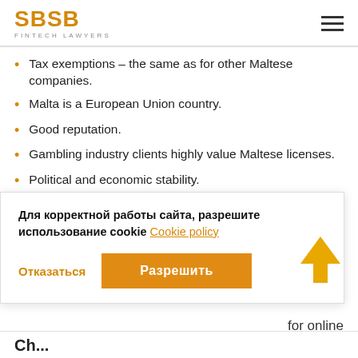SBSB FINTECH LAWYERS
Tax exemptions – the same as for other Maltese companies.
Malta is a European Union country.
Good reputation.
Gambling industry clients highly value Maltese licenses.
Political and economic stability.
A gambling license by a European country.
Vast opportunities in the spheres of banking, payment systems, and processing.
Для корректной работы сайта, разрешите использование cookie Cookie policy
Отказаться  Разрешить
for online
Ch...